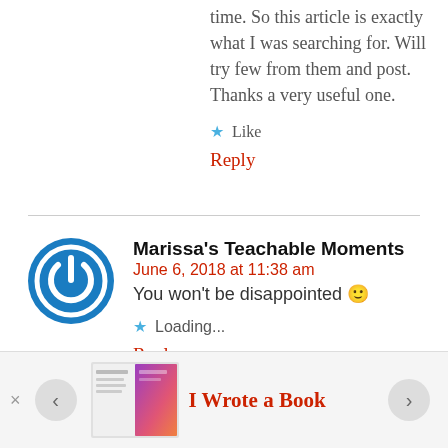time. So this article is exactly what I was searching for. Will try few from them and post. Thanks a very useful one.
Like
Reply
Marissa's Teachable Moments
June 6, 2018 at 11:38 am
You won't be disappointed 🙂
Loading...
Reply
I Wrote a Book